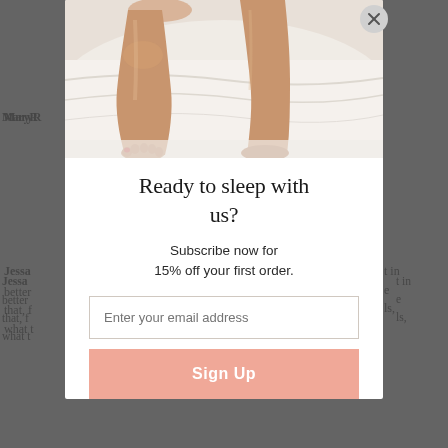MaryR...
Jessa... t in better ... e that, f... ls, what t...
MaryR... e is where ... n right m... s impor... kin stimu... ead skin th... corner... hat in order ... o actual... te.
[Figure (photo): Modal popup overlay on a webpage showing legs resting on white bedding, with text 'Ready to sleep with us?' and a subscription offer for 15% off first order with email signup form and Sign Up button.]
Ready to sleep with us?
Subscribe now for 15% off your first order.
Enter your email address
Sign Up